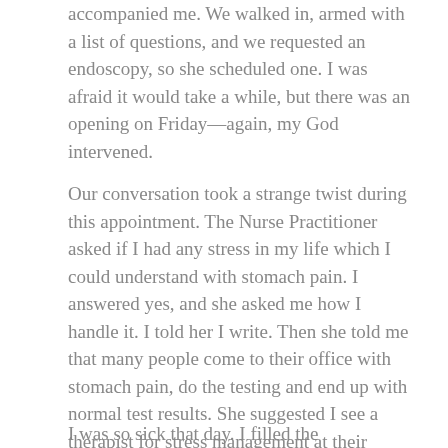accompanied me. We walked in, armed with a list of questions, and we requested an endoscopy, so she scheduled one. I was afraid it would take a while, but there was an opening on Friday—again, my God intervened.
Our conversation took a strange twist during this appointment. The Nurse Practitioner asked if I had any stress in my life which I could understand with stomach pain. I answered yes, and she asked me how I handle it. I told her I write. Then she told me that many people come to their office with stomach pain, do the testing and end up with normal test results. She suggested I see a therapist for stress management at their Behavioral Science department, and she prescribed an anti-depressant, Amitriptyline.
I was so sick that day. I filled the prescription without